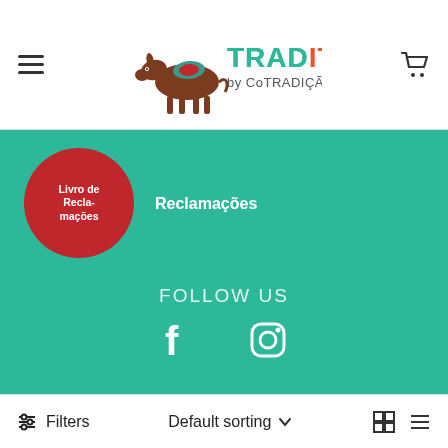[Figure (logo): Traditum by CoTradição logo with a donkey illustration and text]
[Figure (illustration): Livro de Reclamações red circle badge with white text and Reclamações text beside it]
FOLLOW US
[Figure (illustration): Facebook and Instagram social media icons in white on teal background]
©2021 Traditum by Co-Tradição
Cofinanciado por:
[Figure (illustration): Co-financing logos including Portugal flag and other sponsor logos]
Filters   Default sorting
[Figure (illustration): Grid view and list view toggle icons]